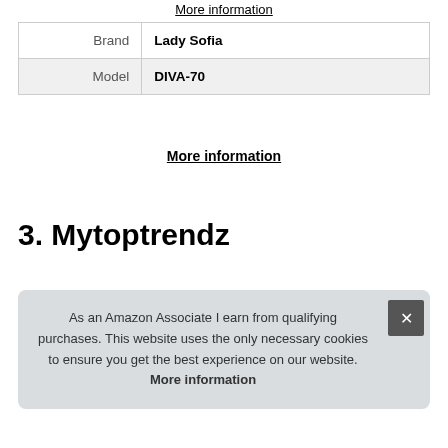More information
| Brand | Lady Sofia |
| Model | DIVA-70 |
More information
3. Mytoptrendz
As an Amazon Associate I earn from qualifying purchases. This website uses the only necessary cookies to ensure you get the best experience on our website. More information